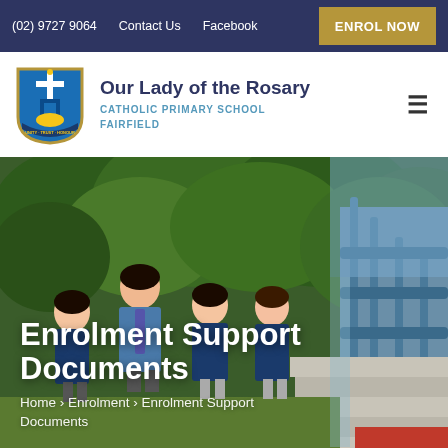(02) 9727 9064  Contact Us  Facebook  ENROL NOW
[Figure (logo): Our Lady of the Rosary Catholic Primary School Fairfield school logo with blue and gold shield crest]
Our Lady of the Rosary CATHOLIC PRIMARY SCHOOL FAIRFIELD
[Figure (photo): School children in blue uniforms smiling on outdoor stairs with green foliage background]
Enrolment Support Documents
Home › Enrolment › Enrolment Support Documents